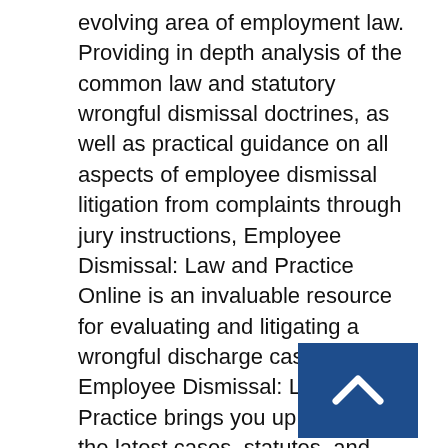evolving area of employment law. Providing in depth analysis of the common law and statutory wrongful dismissal doctrines, as well as practical guidance on all aspects of employee dismissal litigation from complaints through jury instructions, Employee Dismissal: Law and Practice Online is an invaluable resource for evaluating and litigating a wrongful discharge case. Employee Dismissal: Law and Practice brings you up to date on the latest cases, statutes, and developments including: New case law for Illinois, Iowa, Pennsylvania, South Dakota, Washington, and West Virginia New section on discrimination based on immigration status New reference for state qui tam suits New case law on specific
[Figure (other): A dark blue square button with a white upward-pointing chevron/arrow icon, used as a scroll-to-top navigation button.]